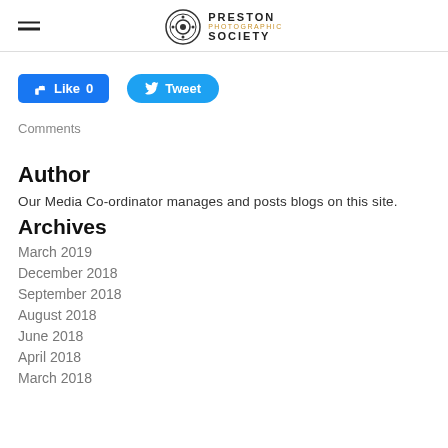PRESTON PHOTOGRAPHIC SOCIETY
[Figure (other): Facebook Like button with count 0 and Twitter Tweet button]
Comments
Author
Our Media Co-ordinator manages and posts blogs on this site.
Archives
March 2019
December 2018
September 2018
August 2018
June 2018
April 2018
March 2018